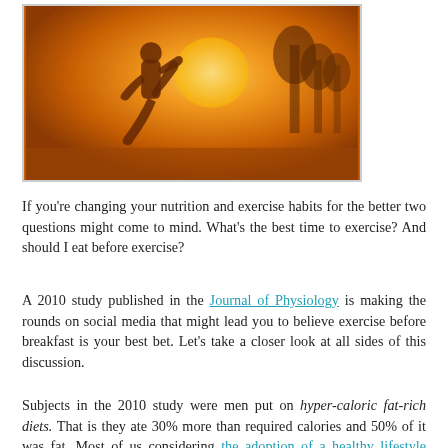[Figure (photo): A person running outdoors in warm golden/orange sunlight with trees in the background, shot from the waist down showing legs mid-stride.]
If you’re changing your nutrition and exercise habits for the better two questions might come to mind. What’s the best time to exercise? And should I eat before exercise?
A 2010 study published in the Journal of Physiology is making the rounds on social media that might lead you to believe exercise before breakfast is your best bet. Let’s take a closer look at all sides of this discussion.
Subjects in the 2010 study were men put on hyper-caloric fat-rich diets. That is they ate 30% more than required calories and 50% of it was fat. Most of us considering the adoption of a healthy lifestyle would not choose either option.